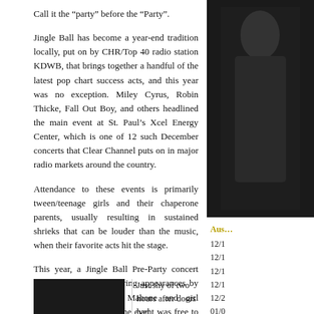Call it the “party” before the “Party”.
Jingle Ball has become a year-end tradition locally, put on by CHR/Top 40 radio station KDWB, that brings together a handful of the latest pop chart success acts, and this year was no exception. Miley Cyrus, Robin Thicke, Fall Out Boy, and others headlined the main event at St. Paul’s Xcel Energy Center, which is one of 12 such December concerts that Clear Channel puts on in major radio markets around the country.
Attendance to these events is primarily tween/teenage girls and their chaperone parents, usually resulting in sustained shrieks that can be louder than the music, when their favorite acts hit the stage.
This year, a Jingle Ball Pre-Party concert was also planned, featuring appearances by up-and-comers Austin Mahone and girl group Fifth Harmony. The event was free to the public, held late afternoon at the adjacent Roy Wilkins Auditorium, and provided welcome and warm relief to those early birds waiting for the arena doors to open for the evening’s concert.
The auditorium’s floor was only in use (balcony seats were covered and roped off) with a makeshift stage set up towards the back of the arena in an open floor, with sponsoring vendor booths located on the other end. Though the station claims over 2,000 attended, a crowd maybe half that size was there at any one given time.
[Figure (photo): Photo of performer on dark background on right sidebar]
Aus…
12/1
12/1
12/1
12/1
12/2
01/0
01/0
01/0
01/1
02/2
02/2
02/2
02/2
03/0
[Figure (photo): Small photo at bottom left]
Just shy of two hours after doors had